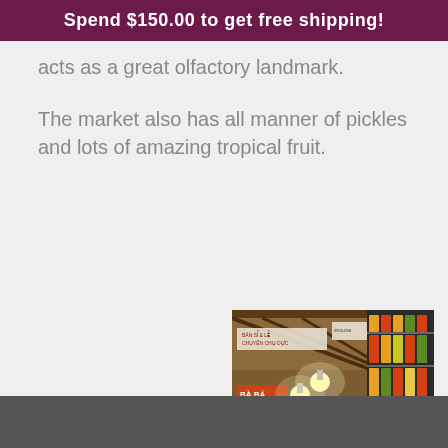Spend $150.00 to get free shipping!
acts as a great olfactory landmark.
The market also has all manner of pickles and lots of amazing tropical fruit.
[Figure (photo): Indoor market stall showing shelves filled with jars of pickles and preserved foods, with hanging light bulbs and signs in Vietnamese, and a person visible at the bottom.]